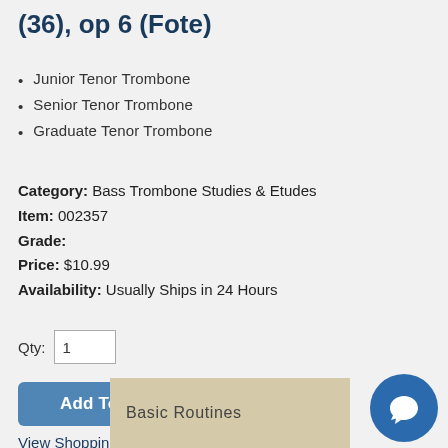(36), op 6 (Fote)
Junior Tenor Trombone
Senior Tenor Trombone
Graduate Tenor Trombone
Category: Bass Trombone Studies & Etudes
Item: 002357
Grade:
Price: $10.99
Availability: Usually Ships in 24 Hours
Qty: 1
Add To Cart
View Shopping Cart
[Figure (other): Blue circular chat/messaging button icon in bottom right corner]
Basic Routines